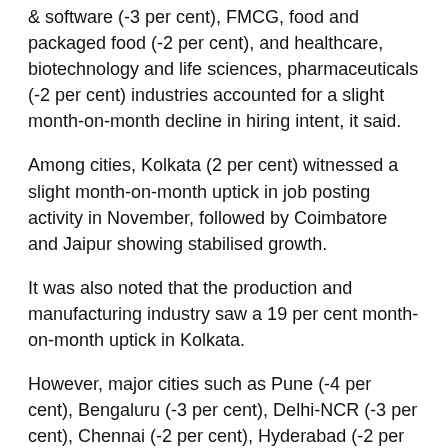& software (-3 per cent), FMCG, food and packaged food (-2 per cent), and healthcare, biotechnology and life sciences, pharmaceuticals (-2 per cent) industries accounted for a slight month-on-month decline in hiring intent, it said.
Among cities, Kolkata (2 per cent) witnessed a slight month-on-month uptick in job posting activity in November, followed by Coimbatore and Jaipur showing stabilised growth.
It was also noted that the production and manufacturing industry saw a 19 per cent month-on-month uptick in Kolkata.
However, major cities such as Pune (-4 per cent), Bengaluru (-3 per cent), Delhi-NCR (-3 per cent), Chennai (-2 per cent), Hyderabad (-2 per cent) and Mumbai (-1 per cent) noted a monthly decline in hiring activity.